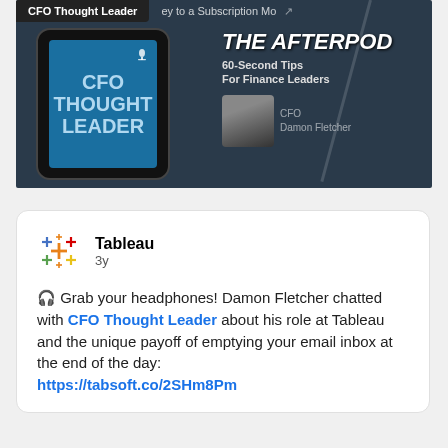[Figure (screenshot): CFO Thought Leader podcast thumbnail showing a smartphone with 'CFO THOUGHT LEADER' text on screen and 'THE AFTERPOD' text, with '60-Second Tips For Finance Leaders' subtitle and a photo of Damon Fletcher]
🎧 Grab your headphones! Damon Fletcher chatted with CFO Thought Leader about his role at Tableau and the unique payoff of emptying your email inbox at the end of the day: https://tabsoft.co/2SHm8Pm